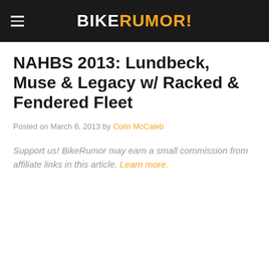BIKERUMOR!
NAHBS 2013: Lundbeck, Muse & Legacy w/ Racked & Fendered Fleet
Posted on March 6, 2013 by Colin McCaleb
Support us! BikeRumor may earn a small commission from affiliate links in this article. Learn more.